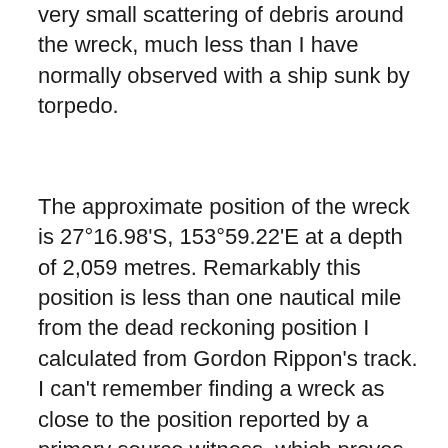very small scattering of debris around the wreck, much less than I have normally observed with a ship sunk by torpedo.

The approximate position of the wreck is 27°16.98'S, 153°59.22'E at a depth of 2,059 metres. Remarkably this position is less than one nautical mile from the dead reckoning position I calculated from Gordon Rippon's track. I can't remember finding a wreck as close to the position reported by a primary source witness, which proves just how precise Rippon's navigation was. Before the search commenced there were serious and legitimate questions posed about whether Rippon could have actually seen Pt. Lookout light from the 23 nautical mile distance that formed the basis of his navigation. However, the close proximity of the wreck to Rippon's track is about the best testament you could make to man whose life was